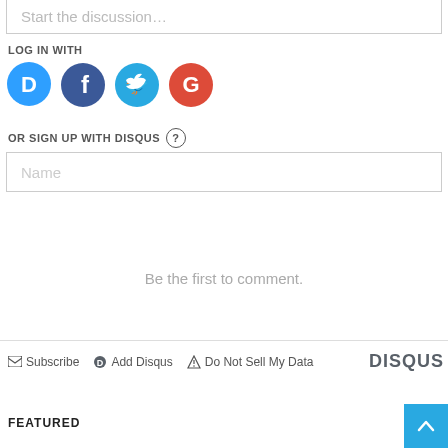Start the discussion…
LOG IN WITH
[Figure (logo): Social login icons: Disqus (D), Facebook, Twitter, Google]
OR SIGN UP WITH DISQUS
Name
Be the first to comment.
Subscribe  Add Disqus  Do Not Sell My Data  DISQUS
FEATURED